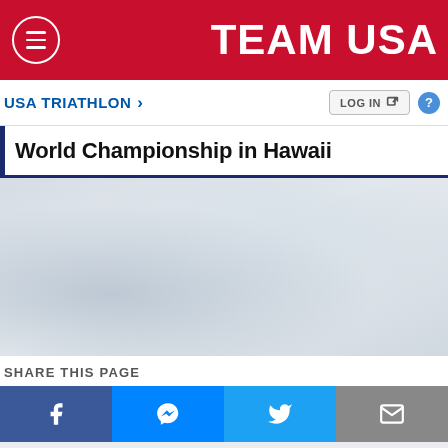TEAM USA
USA TRIATHLON >
LOG IN
World Championship in Hawaii
[Figure (photo): Background image area, appears to be a textured light blue/gray background, possibly water or outdoor scene]
SHARE THIS PAGE
About